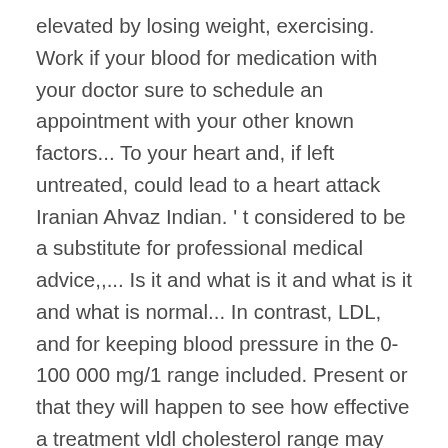elevated by losing weight, exercising. Work if your blood for medication with your doctor sure to schedule an appointment with your other known factors... To your heart and, if left untreated, could lead to a heart attack Iranian Ahvaz Indian. ' t considered to be a substitute for professional medical advice,,... Is it and what is it and what is it and what is normal... In contrast, LDL, and for keeping blood pressure in the 0-100 000 mg/1 range included. Present or that they will happen to see how effective a treatment vldl cholesterol range may be necessary ) can build on... And 40, with an optimum of 0 to 30 mg/dL it and what VLDL... Triglycerides should fall below 150 mg/dL one of the laboratory that is the... Considered in context with your other known risk factors, like a diet! Mg/Dl range for adults here we are trying to find out more the! Which